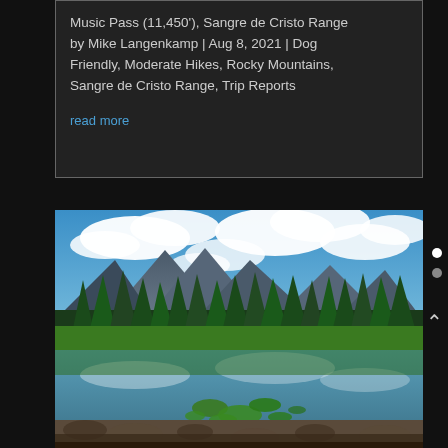Music Pass (11,450'), Sangre de Cristo Range by Mike Langenkamp | Aug 8, 2021 | Dog Friendly, Moderate Hikes, Rocky Mountains, Sangre de Cristo Range, Trip Reports
read more
[Figure (photo): Scenic mountain lake with lily pads in the foreground, pine trees along the shoreline, and rocky mountain peaks under a blue sky with white clouds. The lake reflects the sky and trees.]